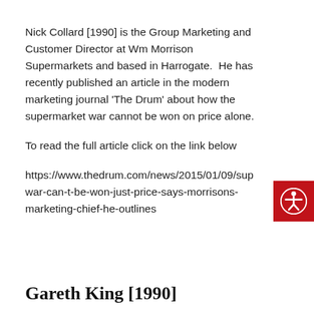Nick Collard [1990] is the Group Marketing and Customer Director at Wm Morrison Supermarkets and based in Harrogate.  He has recently published an article in the modern marketing journal 'The Drum' about how the supermarket war cannot be won on price alone.
To read the full article click on the link below
https://www.thedrum.com/news/2015/01/09/sup war-can-t-be-won-just-price-says-morrisons-marketing-chief-he-outlines
Gareth King [1990]